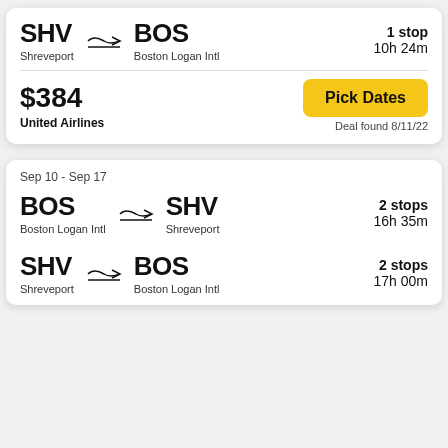SHV → BOS, Shreveport to Boston Logan Intl, 1 stop, 10h 24m
$384, United Airlines, Pick Dates, Deal found 8/11/22
Sep 10 - Sep 17
BOS → SHV, Boston Logan Intl to Shreveport, 2 stops, 16h 35m
SHV → BOS, Shreveport to Boston Logan Intl, 2 stops, 17h 00m